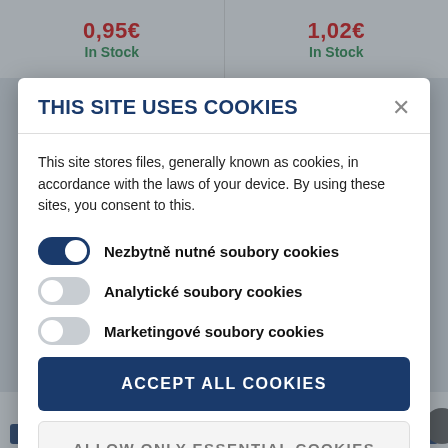0,95€
In Stock
1,02€
In Stock
THIS SITE USES COOKIES
This site stores files, generally known as cookies, in accordance with the laws of your device. By using these sites, you consent to this.
Nezbytně nutné soubory cookies
Analytické soubory cookies
Marketingové soubory cookies
ACCEPT ALL COOKIES
ALLOW ONLY ESSENTIAL COOKIES
More information
In Stock
In Stock